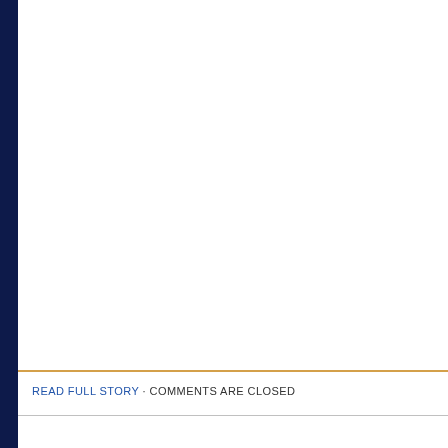READ FULL STORY · COMMENTS ARE CLOSED